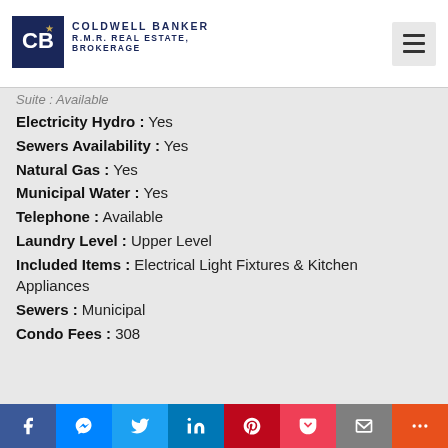[Figure (logo): Coldwell Banker R.M.R. Real Estate, Brokerage logo with hamburger menu icon]
Suite : Available
Electricity Hydro : Yes
Sewers Availability : Yes
Natural Gas : Yes
Municipal Water : Yes
Telephone : Available
Laundry Level : Upper Level
Included Items : Electrical Light Fixtures & Kitchen Appliances
Sewers : Municipal
Condo Fees : 308
[Figure (infographic): Social sharing bar with Facebook, Messenger, Twitter, LinkedIn, Pinterest, Pocket, Email, and More buttons]